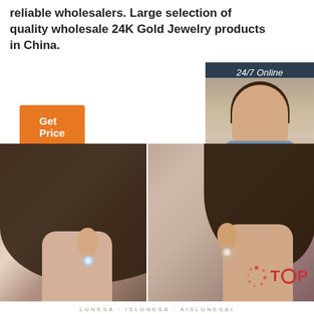reliable wholesalers. Large selection of quality wholesale 24K Gold Jewelry products in China.
[Figure (screenshot): Orange 'Get Price' button]
[Figure (screenshot): 24/7 Online chat widget with agent photo, 'Click here for free chat!' text, and orange QUOTATION button on dark background]
[Figure (photo): Two side-by-side close-up photos of women's ears wearing small crystal/diamond stud earrings, with 'TOP' badge overlay in bottom right]
LUNESA · ISLUNESA · AISLUNESAI